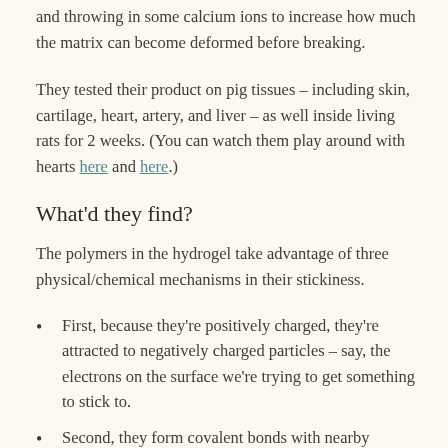and throwing in some calcium ions to increase how much the matrix can become deformed before breaking.
They tested their product on pig tissues – including skin, cartilage, heart, artery, and liver – as well inside living rats for 2 weeks. (You can watch them play around with hearts here and here.)
What'd they find?
The polymers in the hydrogel take advantage of three physical/chemical mechanisms in their stickiness.
First, because they're positively charged, they're attracted to negatively charged particles – say, the electrons on the surface we're trying to get something to stick to.
Second, they form covalent bonds with nearby